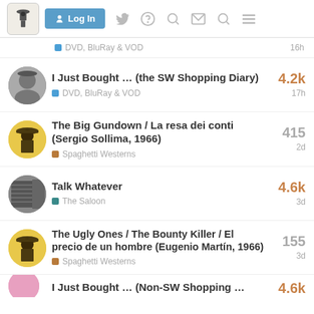Log In — Spaghetti Western forum navigation bar
DVD, BluRay & VOD — 16h
I Just Bought … (the SW Shopping Diary) — DVD, BluRay & VOD — 4.2k — 17h
The Big Gundown / La resa dei conti (Sergio Sollima, 1966) — Spaghetti Westerns — 415 — 2d
Talk Whatever — The Saloon — 4.6k — 3d
The Ugly Ones / The Bounty Killer / El precio de un hombre (Eugenio Martín, 1966) — Spaghetti Westerns — 155 — 3d
I Just Bought … (Non-SW Shopping … — 4.6k